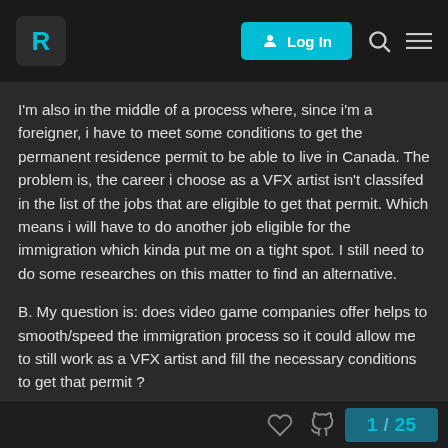R | Log In
I'm also in the middle of a process where, since i'm a foreigner, i have to meet some conditions to get the permanent residence permit to be able to live in Canada. The problem is, the career i choose as a VFX artist isn't classifed in the list of the jobs that are eligible to get that permit. Which means i will have to do another job eligible for the immigration which kinda put me on a tight spot. I still need to do some researches on this matter to find an alternative.
B. My question is: does video game companies offer helps to smooth/speed the immigration process so it could allow me to still work as a VFX artist and fill the necessary conditions to get that permit ?
I don't know if i will find answers here but hey.
1 / 25